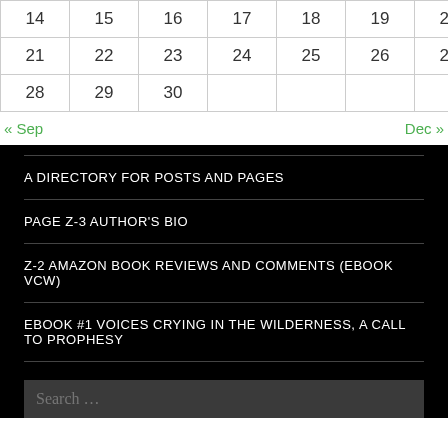| 14 | 15 | 16 | 17 | 18 | 19 | 20 |
| 21 | 22 | 23 | 24 | 25 | 26 | 27 |
| 28 | 29 | 30 |  |  |  |  |
« Sep    Dec »
A DIRECTORY FOR POSTS AND PAGES
PAGE Z-3 AUTHOR'S BIO
Z-2 AMAZON BOOK REVIEWS AND COMMENTS (EBOOK VCW)
EBOOK #1 VOICES CRYING IN THE WILDERNESS, A CALL TO PROPHESY
Search …